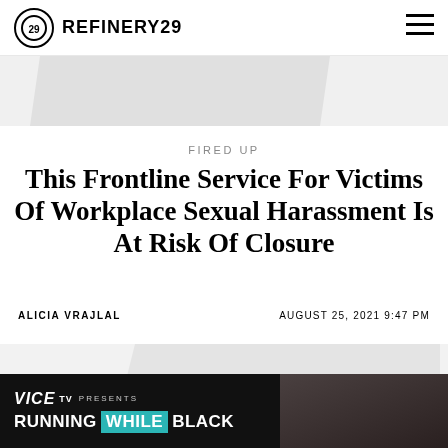REFINERY29
[Figure (photo): Gray diagonal banner image strip below the header]
FIRED UP
This Frontline Service For Victims Of Workplace Sexual Harassment Is At Risk Of Closure
ALICIA VRAJLAL
AUGUST 25, 2021 9:47 PM
[Figure (photo): Lower gray diagonal image strip placeholder]
[Figure (other): VICE TV Presents: Running While Black advertisement banner at the bottom of the page]